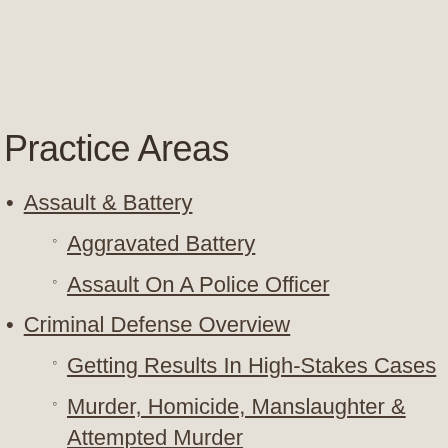Practice Areas
Assault & Battery
Aggravated Battery
Assault On A Police Officer
Criminal Defense Overview
Getting Results In High-Stakes Cases
Murder, Homicide, Manslaughter & Attempted Murder
Juvenile Law
Probation Violations
Protection From Abuse & Stalking